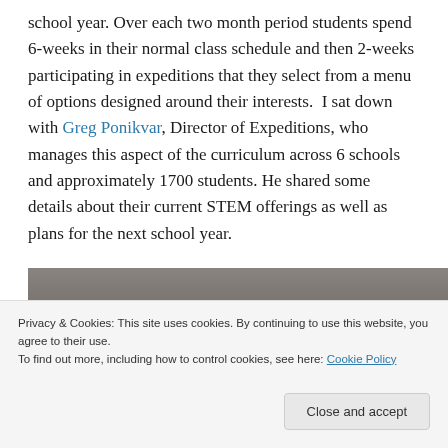school year. Over each two month period students spend 6-weeks in their normal class schedule and then 2-weeks participating in expeditions that they select from a menu of options designed around their interests.  I sat down with Greg Ponikvar, Director of Expeditions, who manages this aspect of the curriculum across 6 schools and approximately 1700 students. He shared some details about their current STEM offerings as well as plans for the next school year.
[Figure (photo): Partial view of a photograph, appearing to show an indoor setting with gray/brown tones. The image is cropped at the bottom by a cookie consent overlay.]
Privacy & Cookies: This site uses cookies. By continuing to use this website, you agree to their use.
To find out more, including how to control cookies, see here: Cookie Policy